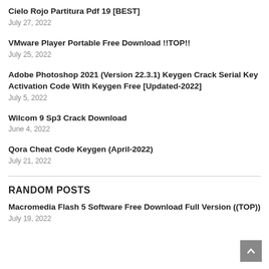Cielo Rojo Partitura Pdf 19 [BEST]
July 27, 2022
VMware Player Portable Free Download !!TOP!!
July 25, 2022
Adobe Photoshop 2021 (Version 22.3.1) Keygen Crack Serial Key Activation Code With Keygen Free [Updated-2022]
July 5, 2022
Wilcom 9 Sp3 Crack Download
June 4, 2022
Qora Cheat Code Keygen (April-2022)
July 21, 2022
RANDOM POSTS
Macromedia Flash 5 Software Free Download Full Version ((TOP))
July 19, 2022